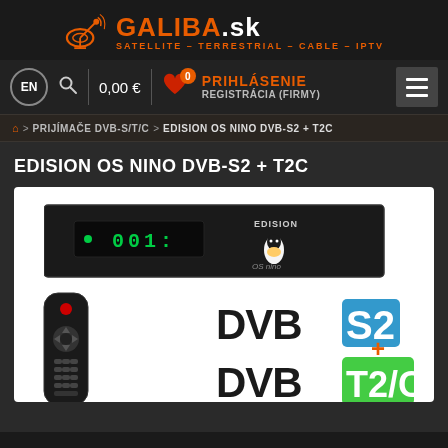[Figure (logo): GALIBA.sk logo with satellite dish icon. Subtitle: SATELLITE - TERRESTRIAL - CABLE - IPTV]
EN  Q  0,00 €  0  PRIHLÁSENIE  REGISTRÁCIA (FIRMY)
🏠 > PRIJÍMAČE DVB-S/T/C > EDISION OS NINO DVB-S2 + T2C
EDISION OS NINO DVB-S2 + T2C
[Figure (photo): EDISION OS NINO DVB-S2 + T2C set-top box product image showing the physical unit with green LED display, a TV remote control, and DVB-S2 and DVB-T2/C logos]